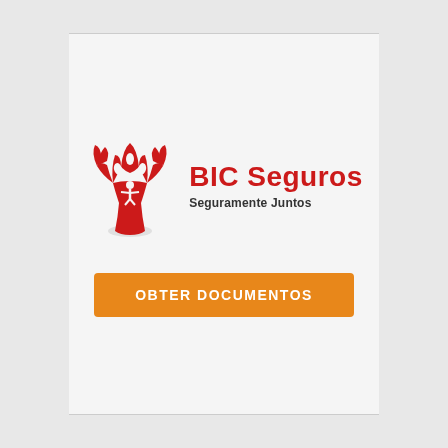[Figure (logo): BIC Seguros logo: a stylized red tree/person figure on the left, with 'BIC Seguros' in bold red text and 'Seguramente Juntos' tagline below]
OBTER DOCUMENTOS